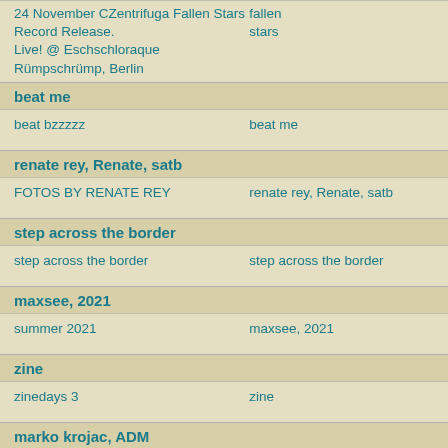24 November CZentrifuga Fallen Stars Record Release. Live! @ Eschschloraque Rümpschrümp, Berlin
fallen stars
beat me
beat bzzzzz	beat me
renate rey, Renate, satb
FOTOS BY RENATE REY	renate rey, Renate, satb
step across the border
step across the border	step across the border
maxsee, 2021
summer 2021	maxsee, 2021
zine
zinedays 3	zine
marko krojac, ADM
ADM Solidarity Festival at Urban Spree Fotos by Marko Krojac	marko krojac, ADM